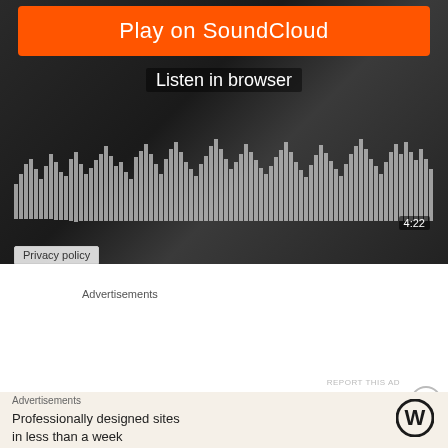[Figure (screenshot): SoundCloud embedded player with orange 'Play on SoundCloud' button, 'Listen in browser' text, audio waveform visualization in greyscale, timestamp showing 4:22, and Privacy policy link at bottom, overlaid on a dark black-and-white background photo]
Advertisements
[Figure (screenshot): Pocket Casts advertisement banner with red background: 'An app by listeners, for listeners.' text on left, phone mockup image in center, Pocket Casts logo on right]
REPORT THIS AD
Advertisements
[Figure (screenshot): WordPress advertisement banner with cream/tan background: 'Professionally designed sites in less than a week' text on left, WordPress logo (W in circle) on right]